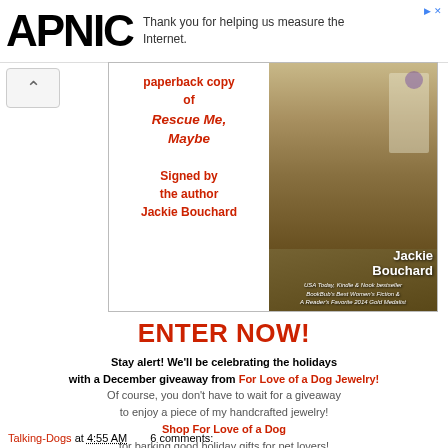APNIC — Thank you for helping us measure the Internet.
[Figure (illustration): Book giveaway promotional image for 'Rescue Me, Maybe' by Jackie Bouchard. Left side shows red text: 'paperback copy of Rescue Me, Maybe, Signed by the author Jackie Bouchard'. Right side shows the book cover with a dog photo and author name Jackie Bouchard, plus text: USA Today, Kindle & Nook bestseller, BookBub's Best Women's Fiction & A Reader's Favorite 2014 Gold Medalist.]
ENTER NOW!
Stay alert! We'll be celebrating the holidays with a December giveaway from For Love of a Dog Jewelry! Of course, you don't have to wait for a giveaway to enjoy a piece of my handcrafted jewelry! Shop For Love of a Dog for barking good holiday gifts for pet lovers!
Talking-Dogs at 4:55 AM   6 comments: